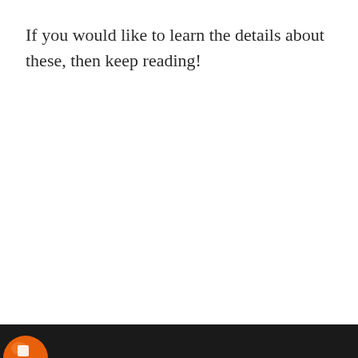If you would like to learn the details about these, then keep reading!
[Figure (photo): Dark banner at the bottom of the page with an orange circular icon/logo partially visible at the bottom left corner]